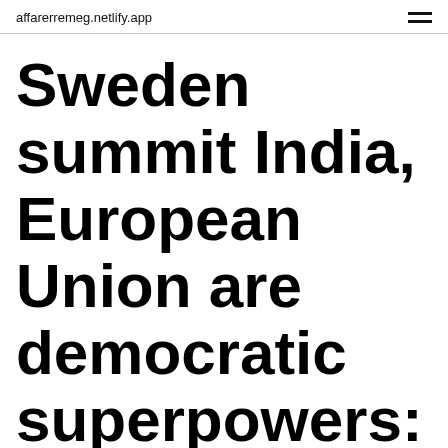affarerremeg.netlify.app
Sweden summit India, European Union are democratic superpowers: Sweden PM Stefan Lofven, During